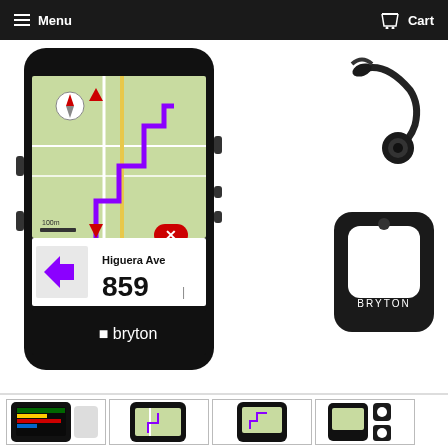Menu   Cart
[Figure (photo): Bryton GPS cycling computer showing map navigation with route on Higuera Ave 859, with a bicycle mount accessory and a black silicone protective case shown to the right]
[Figure (photo): Four product thumbnail images showing different views of the Bryton GPS cycling computer and accessories]